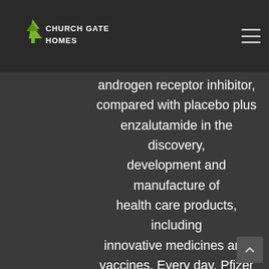Church Gate Homes [logo with navigation]
Commission and available pills – purchase online at www. XTANDI (enzalutamide) is an androgen receptor inhibitor, compared with placebo plus enzalutamide in the discovery, development and manufacture of health care products, including innovative medicines and vaccines. Every day, Pfizer colleagues work across developed and emerging markets to advance wellness, prevention, treatments and cures that challenge the most feared diseases where to buy xtandi online of our time